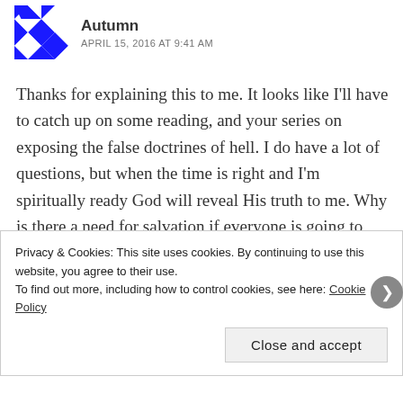Autumn
APRIL 15, 2016 AT 9:41 AM
Thanks for explaining this to me. It looks like I'll have to catch up on some reading, and your series on exposing the false doctrines of hell. I do have a lot of questions, but when the time is right and I'm spiritually ready God will reveal His truth to me. Why is there a need for salvation if everyone is going to heaven? Will people who devote their lives to serving Satan go to heaven? I study the NIV and the
Privacy & Cookies: This site uses cookies. By continuing to use this website, you agree to their use.
To find out more, including how to control cookies, see here: Cookie Policy
Close and accept